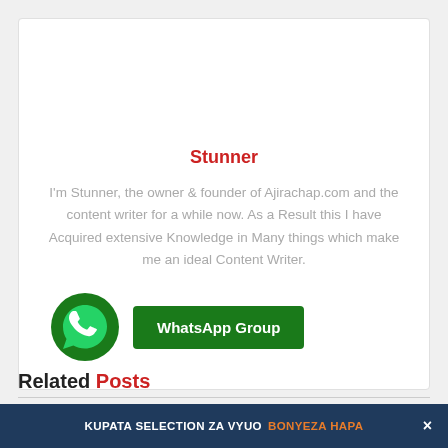[Figure (illustration): Generic user/person silhouette avatar icon in gray, circular shape]
Stunner
I'm Stunner, the owner & founder of Ajirachap.com and the content writer for a while now. As a Result this I have Acquired extensive Knowledge in Many things which make me an ideal Content Writer.
[Figure (logo): WhatsApp icon: dark green circle with white phone/chat bubble logo]
WhatsApp Group
Related Posts
KUPATA SELECTION ZA VYUO BONYEZA HAPA ×